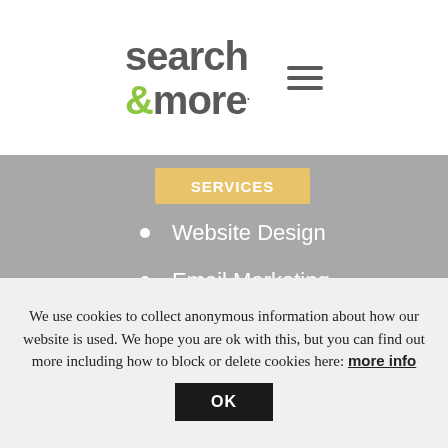search &more [logo with hamburger menu]
[Figure (screenshot): Orange/gold rounded button partially visible, text appears to say 'Services' or similar]
Website Design
Email Marketing
PPC Campaigns
Social Media
Website Content
SEO
We use cookies to collect anonymous information about how our website is used. We hope you are ok with this, but you can find out more including how to block or delete cookies here: more info
OK